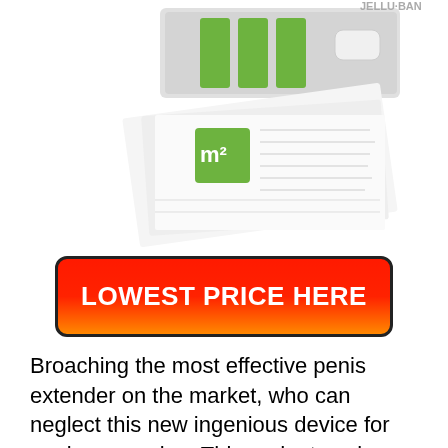[Figure (photo): Product photo of a penis extender device kit in a box with green accents, accompanied by instruction papers/manuals spread out below it. Partial text reading 'JELLU BAN' visible in upper right.]
LOWEST PRICE HERE
Broaching the most effective penis extender on the market, who can neglect this new ingenious device for penis expansion. This gadget works with a tried and tested system to naturally boost the size girth of the penis. Phallosan strength creates an undetectable vacuum that offers also tension overall size of the penis. It is a qualified device backed by a mobile application that can help you